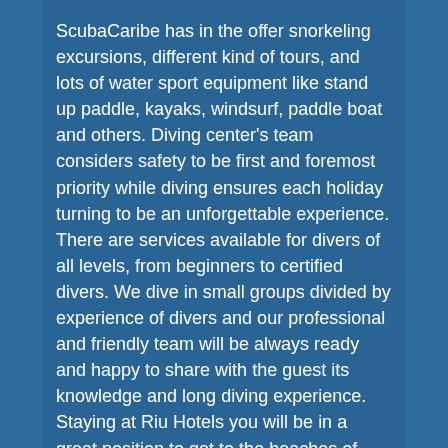ScubaCaribe has in the offer snorkeling excursions, different kind of tours, and lots of water sport equipment like stand up paddle, kayaks, windsurf, paddle boat and others. Diving center's team considers safety to be first and foremost priority while diving ensures each holiday turning to be an unforgettable experience. There are services available for divers of all levels, from beginners to certified divers. We dive in small groups divided by experience of divers and our professional and friendly team will be always ready and happy to share with the guest its knowledge and long diving experience. Staying at Riu Hotels you will be in a great position to get to the beaches of Playa del Carmen, see its most interesting sights and enjoy the best it has to offer in the way of food and drink. There is a hyperbaric chamber in the downtown of Playa del Carmen.